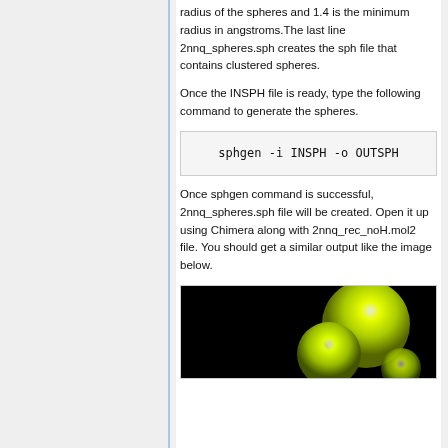radius of the spheres and 1.4 is the minimum radius in angstroms.The last line 2nnq_spheres.sph creates the sph file that contains clustered spheres.
Once the INSPH file is ready, type the following command to generate the spheres.
sphgen -i INSPH -o OUTSPH
Once sphgen command is successful, 2nnq_spheres.sph file will be created. Open it up using Chimera along with 2nnq_rec_noH.mol2 file. You should get a similar output like the image below.
[Figure (photo): Rendered 3D molecular spheres visualization showing yellow-green spheres on a black background, viewed in Chimera.]